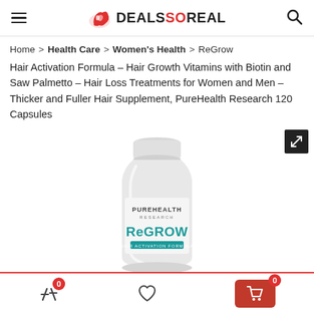DEALS SO REAL — navigation header with hamburger menu, logo, and search icon
Home > Health Care > Women's Health > ReGrow Hair Activation Formula – Hair Growth Vitamins with Biotin and Saw Palmetto – Hair Loss Treatments for Women and Men – Thicker and Fuller Hair Supplement, PureHealth Research 120 Capsules
[Figure (photo): White supplement bottle with label reading PUREHEALTH RESEARCH ReGROW HAIR ACTIVATION FORMULA]
Bottom navigation bar with compare (0), wishlist heart, and cart (0) icons